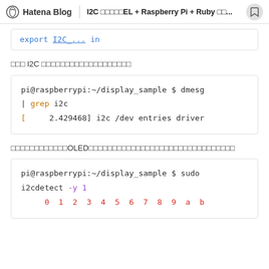Hatena Blog | I2C xxxxxxEL + Raspberry Pi + Ruby xx...
export I2C_... in
次に I2C が正しく認識されているか確認します
pi@raspberrypi:~/display_sample $ dmesg | grep i2c
[    2.429468] i2c /dev entries driver
正しく認識されているとOLEDディスプレイのI2Cアドレスを確認します
pi@raspberrypi:~/display_sample $ sudo i2cdetect -y 1
     0  1  2  3  4  5  6  7  8  9  a  b